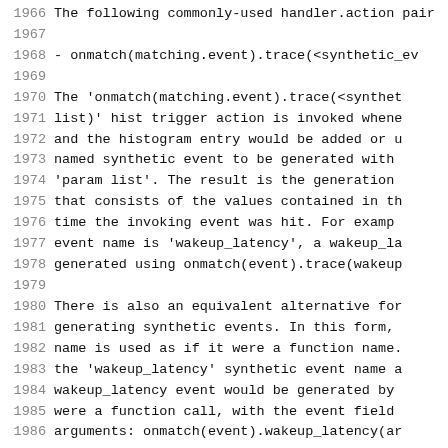1966   The following commonly-used handler.action pair
1967
1968     - onmatch(matching.event).trace(<synthetic_ev
1969
1970       The 'onmatch(matching.event).trace(<synthet
1971       list)' hist trigger action is invoked whene
1972       and the histogram entry would be added or u
1973       named synthetic event to be generated with
1974       'param list'.  The result is the generation
1975       that consists of the values contained in th
1976       time the invoking event was hit.  For examp
1977       event name is 'wakeup_latency', a wakeup_la
1978       generated using onmatch(event).trace(wakeup
1979
1980       There is also an equivalent alternative for
1981       generating synthetic events.  In this form,
1982       name is used as if it were a function name.
1983       the 'wakeup_latency' synthetic event name a
1984       wakeup_latency event would be generated by
1985       were a function call, with the event field
1986       arguments: onmatch(event).wakeup_latency(ar